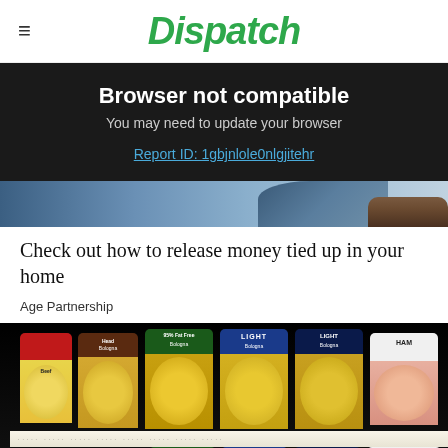Dispatch
Browser not compatible
You may need to update your browser
Report ID: 1gbjnlole0nlgjitehr
[Figure (photo): Partial photograph showing a person's arm/wrist with dark clothing, blue-toned background]
Check out how to release money tied up in your home
Age Partnership
[Figure (photo): Grocery store shelf displaying packaged deli meats including Bologna (Head Bologna, 95% Fat Free Bologna, Light Bologna, Light Bologna) and Ham products in yellow/circular packaging with price tags visible]